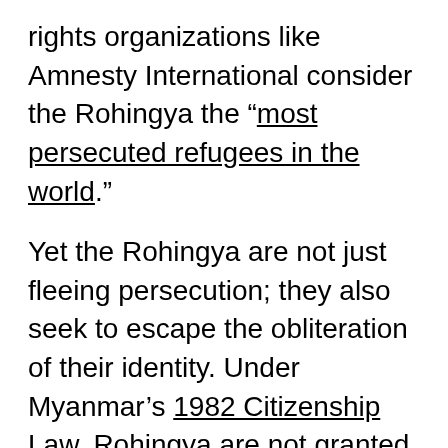rights organizations like Amnesty International consider the Rohingya the “most persecuted refugees in the world.”
Yet the Rohingya are not just fleeing persecution; they also seek to escape the obliteration of their identity. Under Myanmar’s 1982 Citizenship Law, Rohingya are not granted citizenship. They are instead classified as Bengali immigrants, allowing for the possibility of deportation. To be considered citizens, these “immigrants” are asked to prove that they have lived in Myanmar for 60 years, which is often impossible given that the Rohingya initially crossed the border into